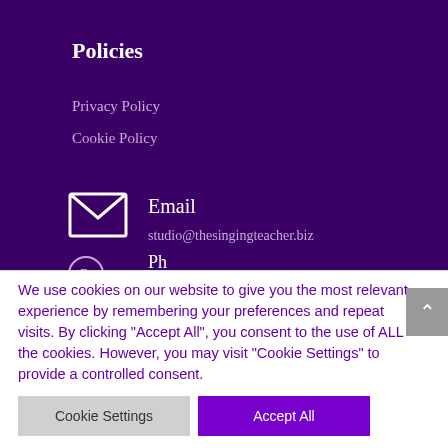Policies
Privacy Policy
Cookie Policy
Email
studio@thesingingteacher.biz
Ph
We use cookies on our website to give you the most relevant experience by remembering your preferences and repeat visits. By clicking “Accept All”, you consent to the use of ALL the cookies. However, you may visit "Cookie Settings" to provide a controlled consent.
Cookie Settings
Accept All